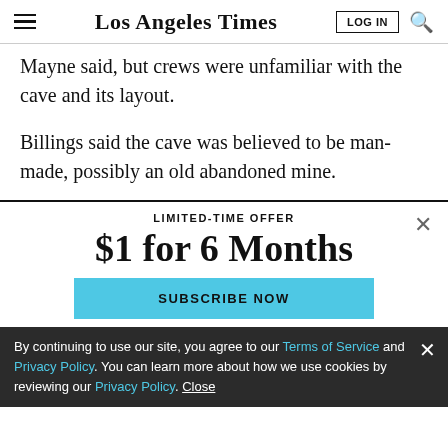Los Angeles Times
Mayne said, but crews were unfamiliar with the cave and its layout.
Billings said the cave was believed to be man-made, possibly an old abandoned mine.
LIMITED-TIME OFFER
$1 for 6 Months
SUBSCRIBE NOW
By continuing to use our site, you agree to our Terms of Service and Privacy Policy. You can learn more about how we use cookies by reviewing our Privacy Policy. Close